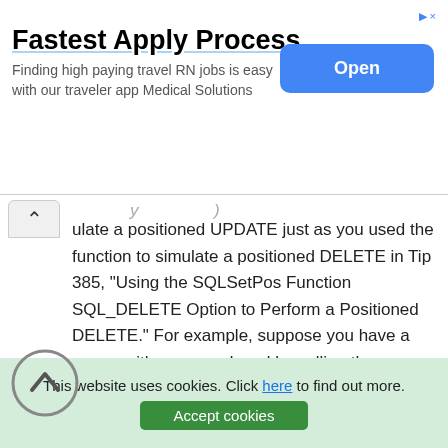[Figure (other): Advertisement banner: 'Fastest Apply Process' for travel RN jobs with Medical Solutions app, with an 'Open' button]
...ulate a positioned UPDATE just as you used the function to simulate a positioned DELETE in Tip 385, "Using the SQLSetPos Function SQL_DELETE Option to Perform a Positioned DELETE." For example, suppose you have a cursor with rows produced by calling the SQLExecDirect function with the query:
This website uses cookies. Click here to find out more.
Accept cookies